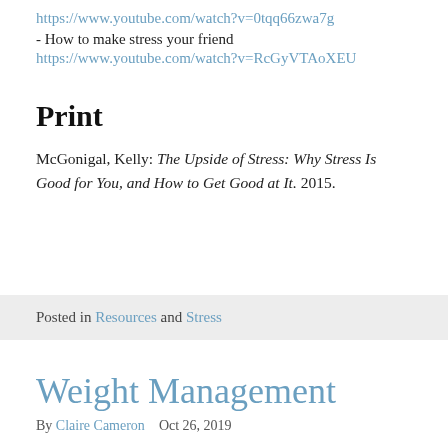https://www.youtube.com/watch?v=0tqq66zwa7g
- How to make stress your friend
https://www.youtube.com/watch?v=RcGyVTAoXEU
Print
McGonigal, Kelly: The Upside of Stress: Why Stress Is Good for You, and How to Get Good at It. 2015.
Posted in Resources and Stress
Weight Management
By Claire Cameron   Oct 26, 2019